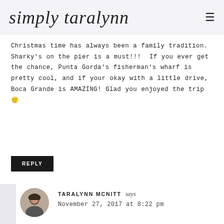simply taralynn
Christmas time has always been a family tradition. Sharky's on the pier is a must!!!  If you ever get the chance, Punta Gorda's fisherman's wharf is pretty cool, and if your okay with a little drive, Boca Grande is AMAZING! Glad you enjoyed the trip 🙂
REPLY
TARALYNN MCNITT says
November 27, 2017 at 8:22 pm